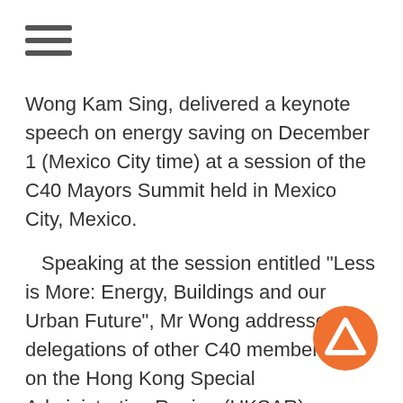Wong Kam Sing, delivered a keynote speech on energy saving on December 1 (Mexico City time) at a session of the C40 Mayors Summit held in Mexico City, Mexico.
Speaking at the session entitled "Less is More: Energy, Buildings and our Urban Future", Mr Wong addressed delegations of other C40 member cities on the Hong Kong Special Administrative Region (HKSAR) Government's efforts in the promotion of energy saving and decarbonisation.
In his speech, Mr Wong said the HKSAR
[Figure (logo): Orange circular logo with a white chevron/arrow shape (Lumen or similar brand logo)]